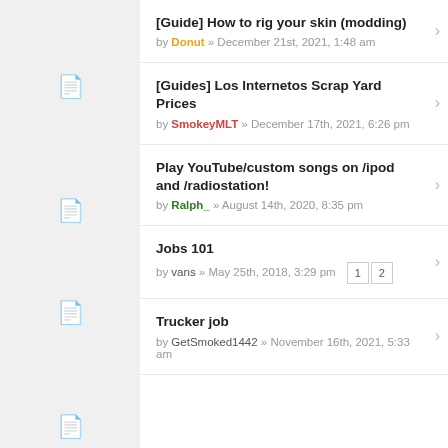[Guide] How to rig your skin (modding) by Donut » December 21st, 2021, 1:48 am
[Guides] Los Internetos Scrap Yard Prices by SmokeyMLT » December 17th, 2021, 6:26 pm
Play YouTube/custom songs on /ipod and /radiostation! by Ralph_ » August 14th, 2020, 8:35 pm
Jobs 101 by vans » May 25th, 2018, 3:29 pm
Trucker job by GetSmoked1442 » November 16th, 2021, 5:33 am